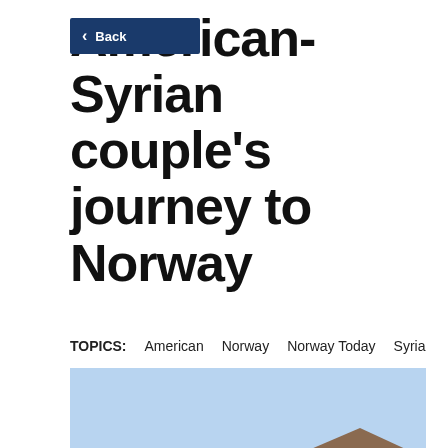American-Syrian couple's journey to Norway
TOPICS: American   Norway   Norway Today   Syria
[Figure (photo): A couple standing on a street in a Norwegian town. The woman has long dark hair, wears glasses and a teal/green beanie hat. The man wears glasses and a dark jacket. Traditional white-painted Norwegian wooden houses are visible in the background, along with bare winter trees and a clear blue sky.]